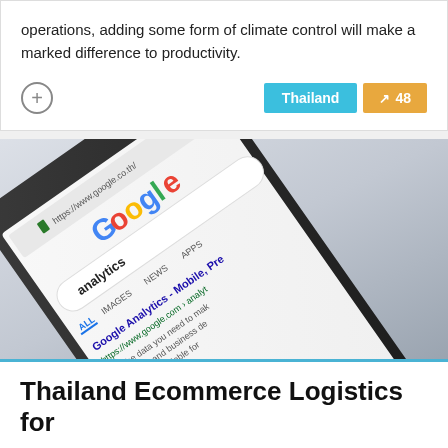operations, adding some form of climate control will make a marked difference to productivity.
[Figure (photo): A smartphone displaying the Google search page with 'analytics' typed in the search bar, showing Google Analytics results. The phone is angled diagonally on a white surface.]
Thailand Ecommerce Logistics for